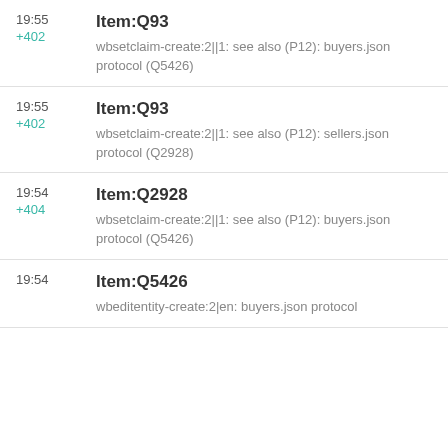19:55 +402 Item:Q93 wbsetclaim-create:2||1: see also (P12): buyers.json protocol (Q5426)
19:55 +402 Item:Q93 wbsetclaim-create:2||1: see also (P12): sellers.json protocol (Q2928)
19:54 +404 Item:Q2928 wbsetclaim-create:2||1: see also (P12): buyers.json protocol (Q5426)
19:54 Item:Q5426 wbeditentity-create:2|en: buyers.json protocol